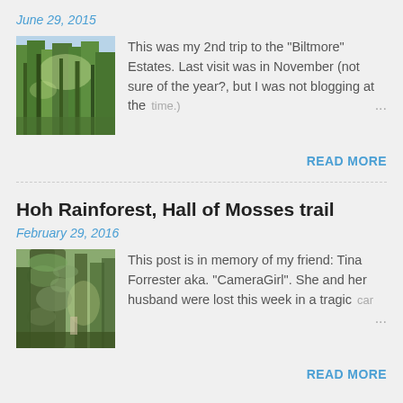June 29, 2015
[Figure (photo): Photo of tall trees with sunlight filtering through green canopy]
This was my 2nd trip to the "Biltmore" Estates. Last visit was in November (not sure of the year?, but I was not blogging at the time.) ...
READ MORE
Hoh Rainforest, Hall of Mosses trail
February 29, 2016
[Figure (photo): Photo of massive moss-covered trees in rainforest]
This post is in memory of my friend: Tina Forrester aka. "CameraGirl". She and her husband were lost this week in a tragic car ...
READ MORE